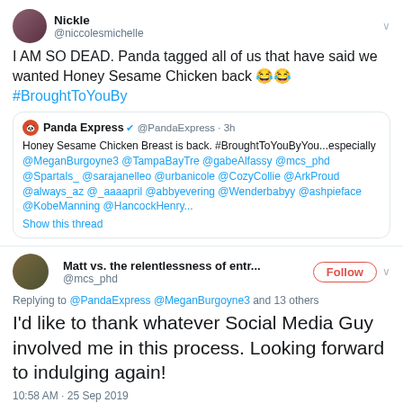[Figure (screenshot): Screenshot of tweets about Panda Express Honey Sesame Chicken]
Nickle @niccolesmichelle — I AM SO DEAD. Panda tagged all of us that have said we wanted Honey Sesame Chicken back 😂😂 #BroughtToYouBy
Panda Express @PandaExpress · 3h — Honey Sesame Chicken Breast is back. #BroughtToYouByYou...especially @MeganBurgoyne3 @TampaBayTre @gabeAlfassy @mcs_phd @Spartals_ @sarajanelleo @urbanicole @CozyCollie @ArkProud @always_az @_aaaapril @abbyevering @Wenderbabyy @ashpieface @KobeManning @HancockHenry...
Show this thread
Matt vs. the relentlessness of entr... @mcs_phd — Replying to @PandaExpress @MeganBurgoyne3 and 13 others — I'd like to thank whatever Social Media Guy involved me in this process. Looking forward to indulging again! — 10:58 AM · 25 Sep 2019
MADS @madd_vibez — ALERT 🚨 ALERT 🚨 — Panda Express has brought back Honey Sesame